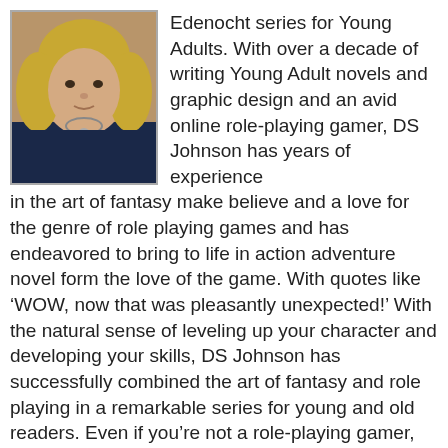[Figure (photo): Portrait photo of a woman with blonde hair wearing a dark navy blue top and a necklace, photographed against a neutral background.]
Edenocht series for Young Adults. With over a decade of writing Young Adult novels and graphic design and an avid online role-playing gamer, DS Johnson has years of experience in the art of fantasy make believe and a love for the genre of role playing games and has endeavored to bring to life in action adventure novel form the love of the game. With quotes like ‘WOW, now that was pleasantly unexpected!’ With the natural sense of leveling up your character and developing your skills, DS Johnson has successfully combined the art of fantasy and role playing in a remarkable series for young and old readers. Even if you’re not a role-playing gamer, you will find the books Realms of Edenocht utilizes the traditional, but exciting story telling techniques with skill and flare all readers will love. DS Johnson works from home